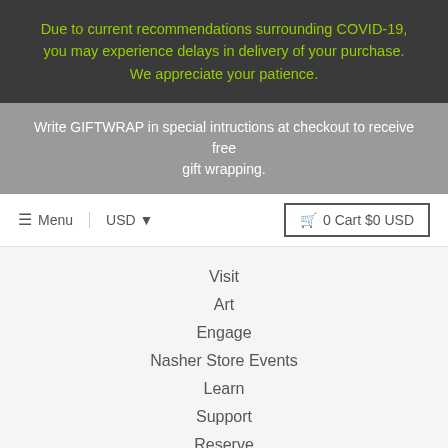Due to current recommendations surrounding COVID-19, you may experience delays in delivery of your purchase. We appreciate your patience.
Write GIFTWRAP in special intructions at checkout to receive free gift wrapping.
☰ Menu  USD ▾  🛒 0 Cart $0 USD
Visit
Art
Engage
Nasher Store Events
Learn
Support
Reserve
FAQs